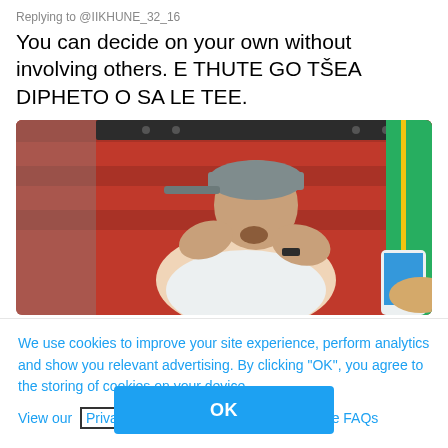Replying to @IIKHUNE_32_16
You can decide on your own without involving others. E THUTE GO TŠEA DIPHETO O SA LE TEE.
[Figure (photo): A man wearing a grey cap and white t-shirt, with his hands cupped around his mouth as if shouting, against a red background with a green flag visible at the right edge.]
We use cookies to improve your site experience, perform analytics and show you relevant advertising. By clicking "OK", you agree to the storing of cookies on your device. View our Privacy Portal Cookie Policy & Cookie FAQs
OK